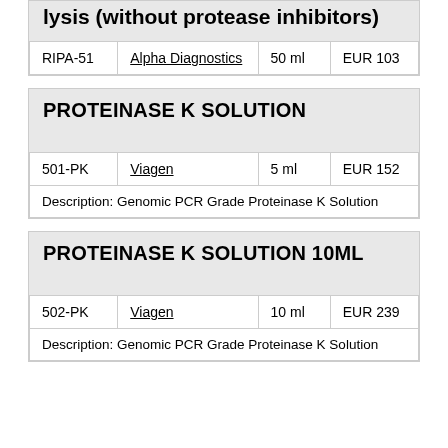lysis (without protease inhibitors)
|  |  |  |  |
| --- | --- | --- | --- |
| RIPA-51 | Alpha Diagnostics | 50 ml | EUR 103 |
PROTEINASE K SOLUTION
|  |  |  |  |
| --- | --- | --- | --- |
| 501-PK | Viagen | 5 ml | EUR 152 |
| Description: Genomic PCR Grade Proteinase K Solution |  |  |  |
PROTEINASE K SOLUTION 10ML
|  |  |  |  |
| --- | --- | --- | --- |
| 502-PK | Viagen | 10 ml | EUR 239 |
| Description: Genomic PCR Grade Proteinase K Solution |  |  |  |